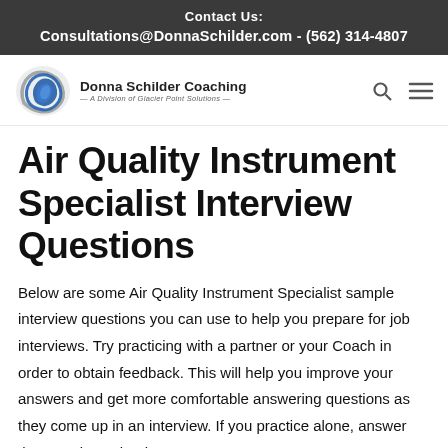Contact Us:
Consultations@DonnaSchilder.com - (562) 314-4807
[Figure (logo): Donna Schilder Coaching logo with circular blue/gray swoosh graphic and text 'Donna Schilder Coaching - A Division of Glacier Point Solutions']
Air Quality Instrument Specialist Interview Questions
Below are some Air Quality Instrument Specialist sample interview questions you can use to help you prepare for job interviews. Try practicing with a partner or your Coach in order to obtain feedback. This will help you improve your answers and get more comfortable answering questions as they come up in an interview. If you practice alone, answer the questions aloud